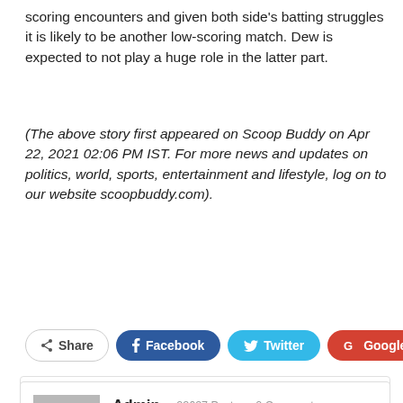scoring encounters and given both side's batting struggles it is likely to be another low-scoring match. Dew is expected to not play a huge role in the latter part.
(The above story first appeared on Scoop Buddy on Apr 22, 2021 02:06 PM IST. For more news and updates on politics, world, sports, entertainment and lifestyle, log on to our website scoopbuddy.com).
[Figure (screenshot): Comment count bubble showing 0 comments, social sharing buttons: Share, Facebook, Twitter, Google+, and a plus button]
[Figure (infographic): Author box with avatar placeholder, Admin name, 22627 Posts, 0 Comments, globe icon, and scroll-up button]